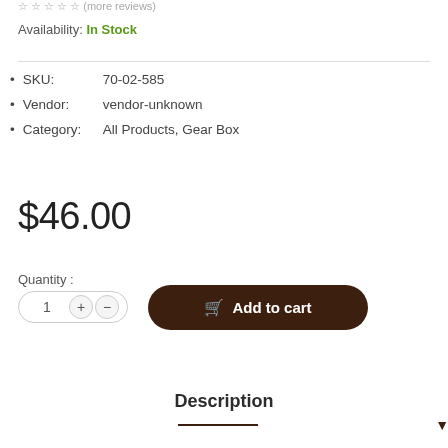★ ★ ★ ★ ★ (more reviews)
Availability: In Stock
SKU:      70-02-585
Vendor:   vendor-unknown
Category: All Products, Gear Box
$46.00
Quantity :
1
Add to cart
Description